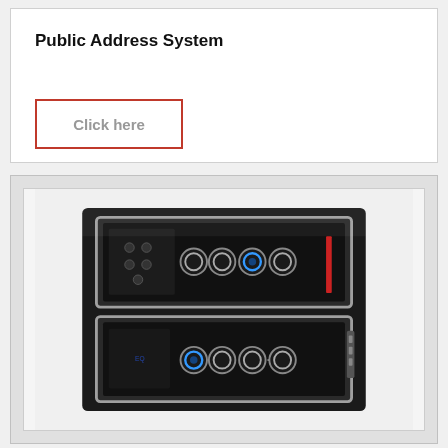Public Address System
Click here
[Figure (photo): Black panel with touch switch modules featuring circular buttons with blue LED indicators and chrome trim bezels, arranged in two rows on a glossy black plate]